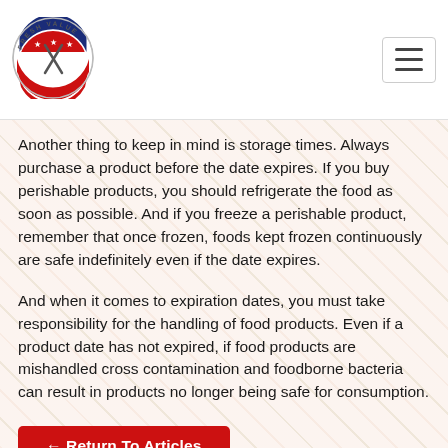[Figure (logo): Fresh Value circular logo with American flag and crossed utensils in the center, text 'FRESH VALUE' around the top]
Another thing to keep in mind is storage times. Always purchase a product before the date expires. If you buy perishable products, you should refrigerate the food as soon as possible. And if you freeze a perishable product, remember that once frozen, foods kept frozen continuously are safe indefinitely even if the date expires.
And when it comes to expiration dates, you must take responsibility for the handling of food products. Even if a product date has not expired, if food products are mishandled cross contamination and foodborne bacteria can result in products no longer being safe for consumption.
← Return To Articles